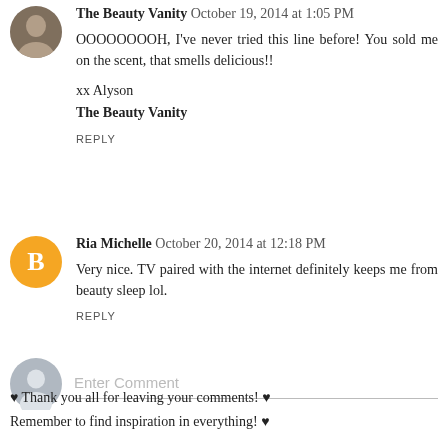The Beauty Vanity  October 19, 2014 at 1:05 PM
OOOOOOOH, I've never tried this line before! You sold me on the scent, that smells delicious!!

xx Alyson
The Beauty Vanity

REPLY
Ria Michelle  October 20, 2014 at 12:18 PM
Very nice. TV paired with the internet definitely keeps me from beauty sleep lol.

REPLY
Enter Comment
♥ Thank you all for leaving your comments! ♥
Remember to find inspiration in everything! ♥